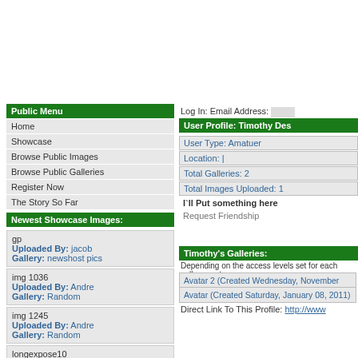Public Menu
Home
Showcase
Browse Public Images
Browse Public Galleries
Register Now
The Story So Far
Newest Showcase Images:
gp
Uploaded By: jacob
Gallery: newshost pics
img 1036
Uploaded By: Andre
Gallery: Random
img 1245
Uploaded By: Andre
Gallery: Random
longexpose10
Log In: Email Address:
User Profile: Timothy Des
User Type: Amatuer
Location: |
Total Galleries: 2
Total Images Uploaded: 1
I`ll Put something here
Request Friendship
Timothy's Galleries:
Depending on the access levels set for each gallery, cert
Avatar 2 (Created Wednesday, November 30, 2011)
Avatar (Created Saturday, January 08, 2011)
Direct Link To This Profile: http://www